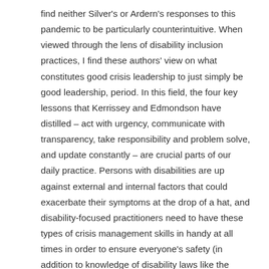find neither Silver's or Ardern's responses to this pandemic to be particularly counterintuitive. When viewed through the lens of disability inclusion practices, I find these authors' view on what constitutes good crisis leadership to just simply be good leadership, period. In this field, the four key lessons that Kerrissey and Edmondson have distilled – act with urgency, communicate with transparency, take responsibility and problem solve, and update constantly – are crucial parts of our daily practice. Persons with disabilities are up against external and internal factors that could exacerbate their symptoms at the drop of a hat, and disability-focused practitioners need to have these types of crisis management skills in handy at all times in order to ensure everyone's safety (in addition to knowledge of disability laws like the ADA, Sections 504 and 508 of the Rehabilitation Act, EEOC compliance standards, emergency management practices, etc.). Perhaps this is because